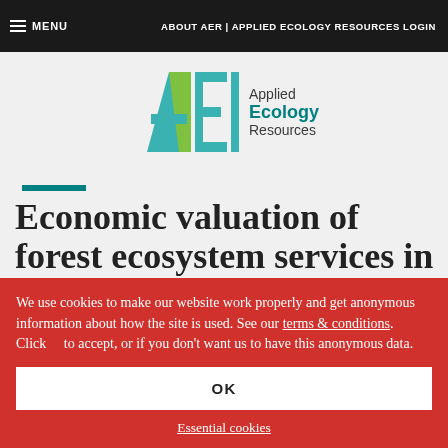MENU | ABOUT AER | APPLIED ECOLOGY RESOURCES LOGIN
[Figure (logo): Applied Ecology Resources (AER) logo with stylized A, E, R letters in teal/green and text 'Applied Ecology Resources']
Economic valuation of forest ecosystem services in Kenya: implication for
We use cookies to make our website work properly and get anonymous information about how the site is used. See our terms & conditions. Click to accept, or if you don't want us to have this anonymous data.
OK
Essential cookies